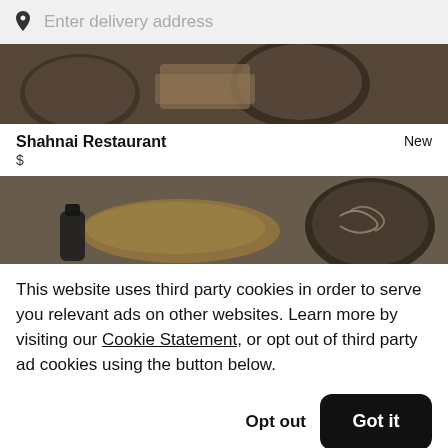Enter delivery address
[Figure (photo): Top cropped food photo showing bowls of food on a dark background]
Shahnai Restaurant   New
$
[Figure (photo): Bottom cropped food photo showing various dishes including bread and noodles]
This website uses third party cookies in order to serve you relevant ads on other websites. Learn more by visiting our Cookie Statement, or opt out of third party ad cookies using the button below.
Opt out   Got it